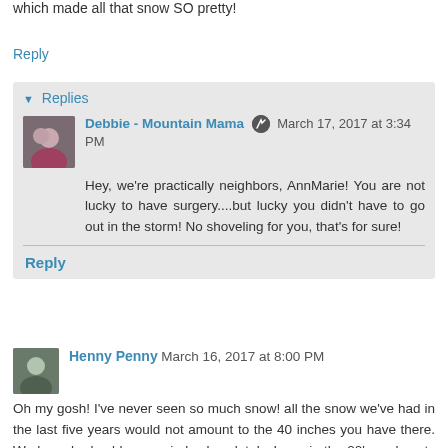which made all that snow SO pretty!
Reply
▼ Replies
Debbie - Mountain Mama  March 17, 2017 at 3:34 PM
Hey, we're practically neighbors, AnnMarie! You are not lucky to have surgery....but lucky you didn't have to go out in the storm! No shoveling for you, that's for sure!
Reply
Henny Penny  March 16, 2017 at 8:00 PM
Oh my gosh! I've never seen so much snow! all the snow we've had in the last five years would not amount to the 40 inches you have there. We have had cold, very windy, days lately. Lows in the 20's and gusts of wind up to 40 mph.